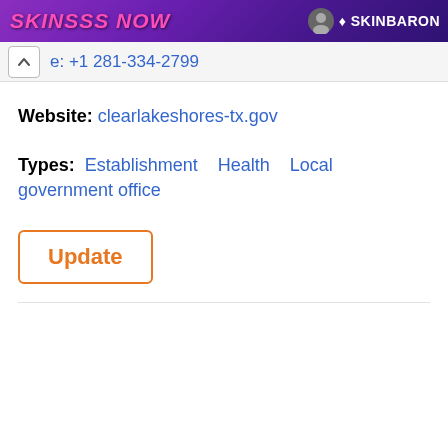[Figure (screenshot): Ad banner with purple gradient background showing 'SKINSSS NOW' text in pink italic bold font and SkinBaron logo on the right]
e: +1 281-334-2799
Website: clearlakeshores-tx.gov
Types: Establishment   Health   Local government office
Update